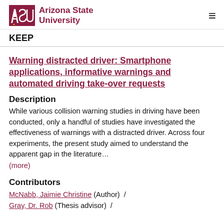Arizona State University — KEEP
Warning distracted driver: Smartphone applications, informative warnings and automated driving take-over requests
Description
While various collision warning studies in driving have been conducted, only a handful of studies have investigated the effectiveness of warnings with a distracted driver. Across four experiments, the present study aimed to understand the apparent gap in the literature… (more)
Contributors
McNabb, Jaimie Christine (Author)  /  Gray, Dr. Rob (Thesis advisor)  /